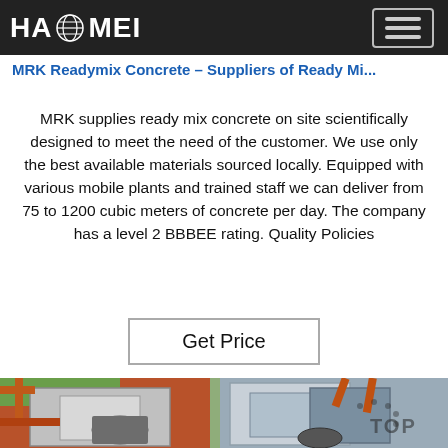HAOMEI
MRK Readymix Concrete – Suppliers of Ready Mi...
MRK supplies ready mix concrete on site scientifically designed to meet the need of the customer. We use only the best available materials sourced locally. Equipped with various mobile plants and trained staff we can deliver from 75 to 1200 cubic meters of concrete per day. The company has a level 2 BBBEE rating. Quality Policies
Get Price
[Figure (photo): Industrial concrete plant machinery — heavy metal frame structure with rollers and mesh panels, orange steel scaffolding visible in background.]